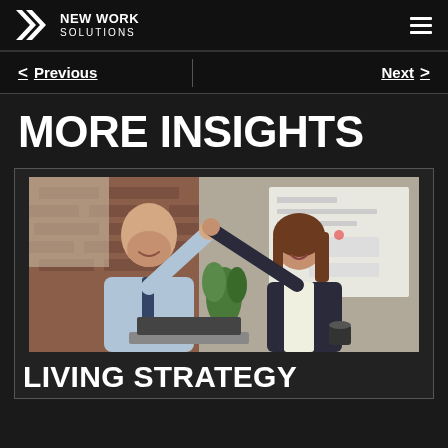NEW WORK SOLUTIONS
< Previous | Next >
MORE INSIGHTS
[Figure (photo): Two colleagues high-fiving in a modern brick-walled office, smiling, with a whiteboard in the background]
LIVING STRATEGY